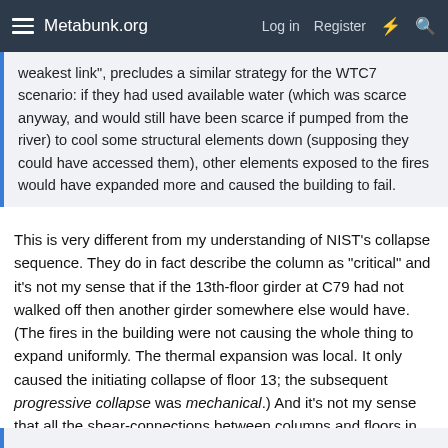Metabunk.org  Log in  Register
weakest link", precludes a similar strategy for the WTC7 scenario: if they had used available water (which was scarce anyway, and would still have been scarce if pumped from the river) to cool some structural elements down (supposing they could have accessed them), other elements exposed to the fires would have expanded more and caused the building to fail.
This is very different from my understanding of NIST’s collapse sequence. They do in fact describe the column as "critical" and it's not my sense that if the 13th-floor girder at C79 had not walked off then another girder somewhere else would have. (The fires in the building were not causing the whole thing to expand uniformly. The thermal expansion was local. It only caused the initiating collapse of floor 13; the subsequent progressive collapse was mechanical.) And it's not my sense that all the shear-connections between columns and floors in the building were such that, if any one of them fails, then the whole building comes down. There seems to have been something special about C79 around the 13th floor.